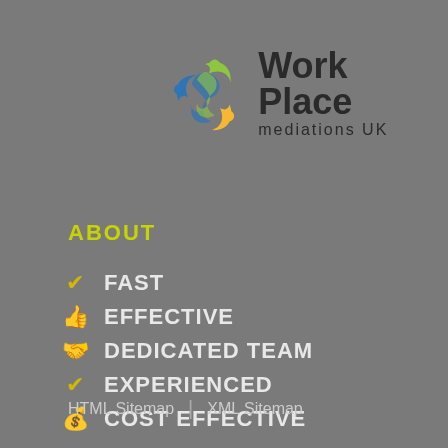[Figure (logo): Work Place mediations UK logo with colorful circular swirl icon and dark text]
ABOUT
FAST
EFFECTIVE
DEDICATED TEAM
EXPERIENCED
COST EFFECTIVE
HTML Sitemap | XML Sitemap